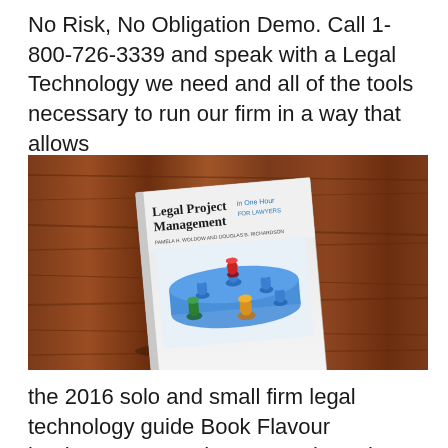No Risk, No Obligation Demo. Call 1-800-726-3339 and speak with a Legal Technology we need and all of the tools necessary to run our firm in a way that allows
[Figure (photo): Photo of a book titled 'Legal Project Management in One Hour for Lawyers' placed on a wooden table surface. The book cover shows colorful game pieces (blue, green, yellow, red) on a blue platform.]
the 2016 solo and small firm legal technology guide Book Flavour book1627224394the 2014 solo and small firm legal technology guide free